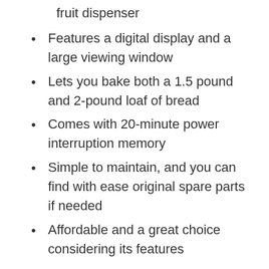fruit dispenser
Features a digital display and a large viewing window
Lets you bake both a 1.5 pound and 2-pound loaf of bread
Comes with 20-minute power interruption memory
Simple to maintain, and you can find with ease original spare parts if needed
Affordable and a great choice considering its features
Cons: